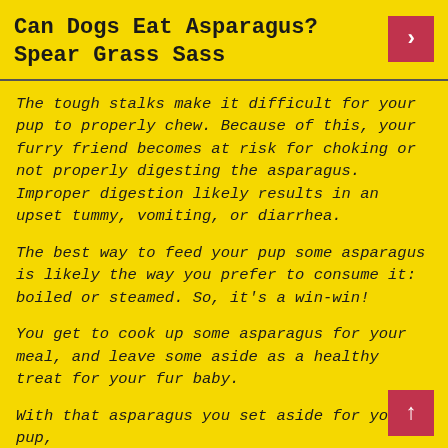Can Dogs Eat Asparagus? Spear Grass Sass
The tough stalks make it difficult for your pup to properly chew. Because of this, your furry friend becomes at risk for choking or not properly digesting the asparagus. Improper digestion likely results in an upset tummy, vomiting, or diarrhea.
The best way to feed your pup some asparagus is likely the way you prefer to consume it: boiled or steamed. So, it's a win-win!
You get to cook up some asparagus for your meal, and leave some aside as a healthy treat for your fur baby.
With that asparagus you set aside for your pup,